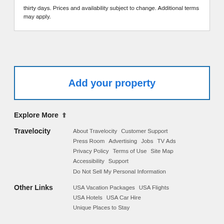thirty days. Prices and availability subject to change. Additional terms may apply.
Add your property
Explore More ⬆
Travelocity  About Travelocity  Customer Support  Press Room  Advertising  Jobs  TV Ads  Privacy Policy  Terms of Use  Site Map  Accessibility  Support  Do Not Sell My Personal Information
Other Links  USA Vacation Packages  USA Flights  USA Hotels  USA Car Hire  Unique Places to Stay